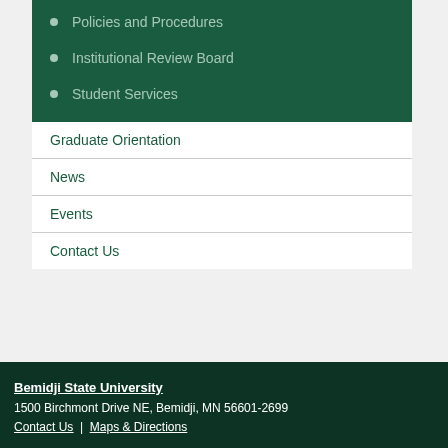Policies and Procedures
Institutional Review Board
Student Services
Graduate Orientation
News
Events
Contact Us
Bemidji State University
1500 Birchmont Drive NE, Bemidji, MN 56601-2699
Contact Us | Maps & Directions